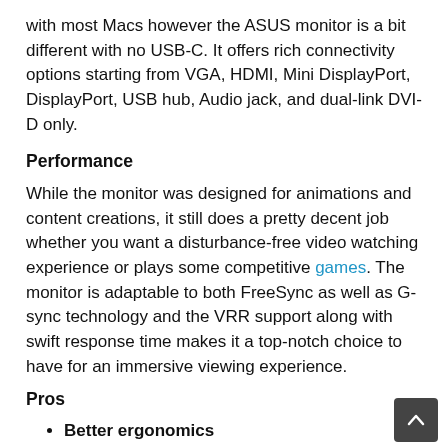with most Macs however the ASUS monitor is a bit different with no USB-C. It offers rich connectivity options starting from VGA, HDMI, Mini DisplayPort, DisplayPort, USB hub, Audio jack, and dual-link DVI-D only.
Performance
While the monitor was designed for animations and content creations, it still does a pretty decent job whether you want a disturbance-free video watching experience or plays some competitive games. The monitor is adaptable to both FreeSync as well as G-sync technology and the VRR support along with swift response time makes it a top-notch choice to have for an immersive viewing experience.
Pros
Better ergonomics
Supports Variable Refresh Rate
Prevents eye strain and fatigue
Vivid colors